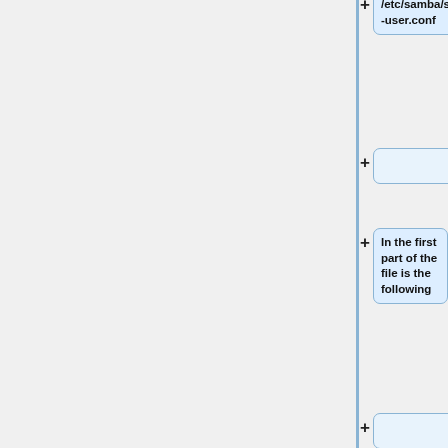[Figure (flowchart): Vertical flowchart/diff view showing a sequence of nodes connected by plus signs along a blue vertical line. Nodes contain: '/etc/samba/smb-user.conf', an empty node, 'In the first part of the file is the following', an empty node, '# uncomment this line to disallow unsecure access', '# include = /etc/samba/smb-secure.conf', an empty node, 'You will have to']